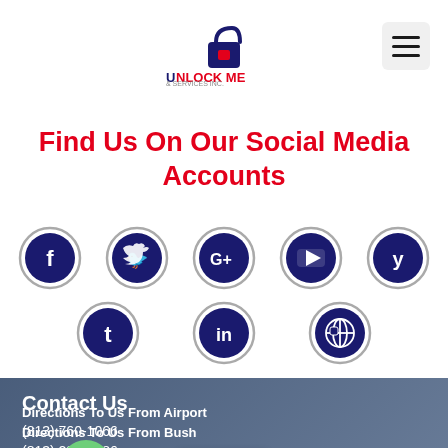[Figure (logo): Unlock Me & Services Inc. logo with padlock icon]
Find Us On Our Social Media Accounts
[Figure (illustration): Row of social media icons: Facebook, Twitter, Google+, YouTube, Yelp]
[Figure (illustration): Row of social media icons: Tumblr, LinkedIn, Globe/Web]
Contact Us
(813) 760-1066
(813) 296-8586
...rea...@...ail.com
Directions To Us From Airport
Directions To Us From Bush